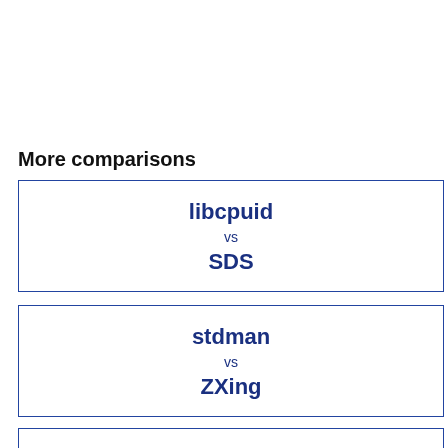More comparisons
libcpuid vs SDS
stdman vs ZXing
stdman vs American fuzzy lop